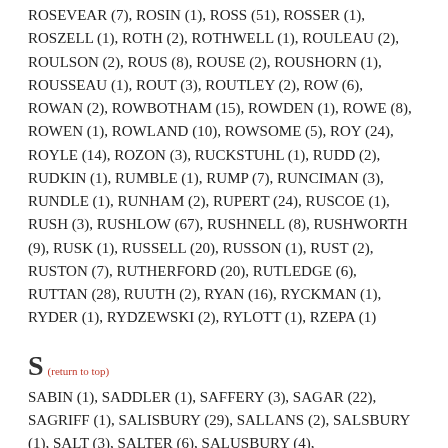ROSEVEAR (7), ROSIN (1), ROSS (51), ROSSER (1), ROSZELL (1), ROTH (2), ROTHWELL (1), ROULEAU (2), ROULSON (2), ROUS (8), ROUSE (2), ROUSHORN (1), ROUSSEAU (1), ROUT (3), ROUTLEY (2), ROW (6), ROWAN (2), ROWBOTHAM (15), ROWDEN (1), ROWE (8), ROWEN (1), ROWLAND (10), ROWSOME (5), ROY (24), ROYLE (14), ROZON (3), RUCKSTUHL (1), RUDD (2), RUDKIN (1), RUMBLE (1), RUMP (7), RUNCIMAN (3), RUNDLE (1), RUNHAM (2), RUPERT (24), RUSCOE (1), RUSH (3), RUSHLOW (67), RUSHNELL (8), RUSHWORTH (9), RUSK (1), RUSSELL (20), RUSSON (1), RUST (2), RUSTON (7), RUTHERFORD (20), RUTLEDGE (6), RUTTAN (28), RUUTH (2), RYAN (16), RYCKMAN (1), RYDER (1), RYDZEWSKI (2), RYLOTT (1), RZEPA (1)
S (return to top)
SABIN (1), SADDLER (1), SAFFERY (3), SAGAR (22), SAGRIFF (1), SALISBURY (29), SALLANS (2), SALSBURY (1), SALT (3), SALTER (6), SALUSBURY (4),